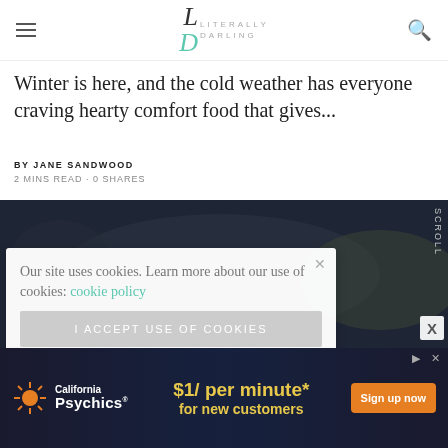Literally Darling
Winter is here, and the cold weather has everyone craving hearty comfort food that gives...
BY JANE SANDWOOD
2 MINS READ · 0 SHARES
[Figure (photo): Dark blurred kitchen/food background photo]
Our site uses cookies. Learn more about our use of cookies: cookie policy
I ACCEPT USE OF COOKIES
[Figure (infographic): California Psychics advertisement banner: $1/ per minute* for new customers, Sign up now button]